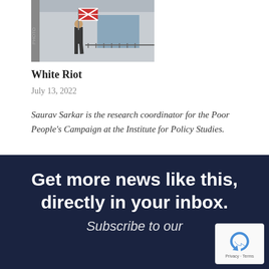[Figure (photo): Person walking on a street carrying a Confederate flag, with metal barriers in the background]
White Riot
July 13, 2022
Saurav Sarkar is the research coordinator for the Poor People's Campaign at the Institute for Policy Studies.
Get more news like this, directly in your inbox.
Subscribe to our